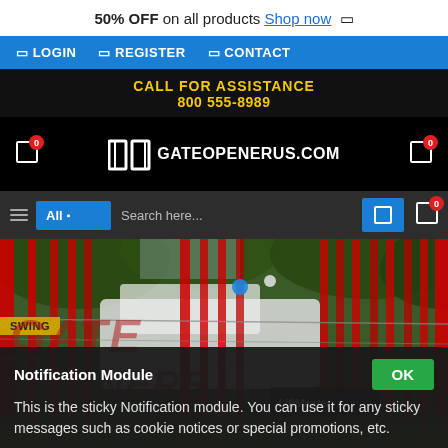50% OFF on all products Shop now
LOGIN  REGISTER  CONTACT
CALL FOR ASSISTANCE
800 555-8989
[Figure (logo): GateOpenerUs.com logo with two door icon and site name, with shopping cart icons on each side showing badge count 0]
[Figure (screenshot): Search bar with All category dropdown and search input field]
[Figure (photo): Red metal swing gate with vehicle in background, trees, SWING label, GATE OPENERS text overlay, LiftMaster branding]
Notification Module
This is the sticky Notification module. You can use it for any sticky messages such as cookie notices or special promotions, etc.